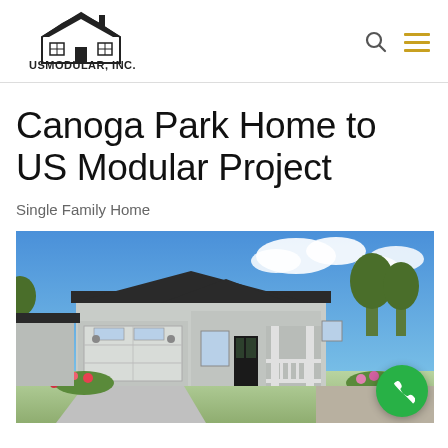[Figure (logo): USMODULAR, INC. logo with house icon and tagline 'We build Faster, Better, Greener, and for LESS!' and phone number 888-987-6638]
Canoga Park Home to US Modular Project
Single Family Home
[Figure (photo): Rendering of a single-family modular home with light gray siding, dark trim, attached garage, front porch with white railings, landscaping with colorful flowers, blue sky with clouds]